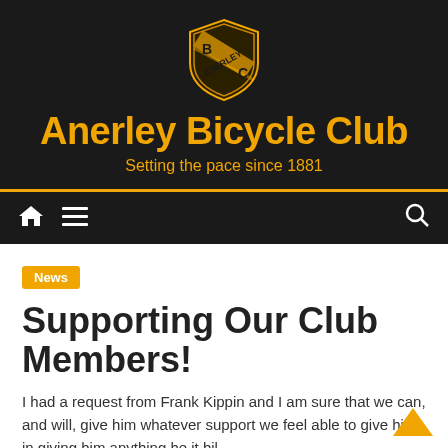[Figure (logo): Anerley Bicycle Club shield logo with gold and black coloring, letters B, C, and ANERLEY on the shield]
Anerley Bicycle Club
Setting the pace since 1881
Navigation bar with home icon, menu icon, and search icon
News
Supporting Our Club Members!
I had a request from Frank Kippin and I am sure that we can, and will, give him whatever support we feel able to give him in giving him anything he it hil